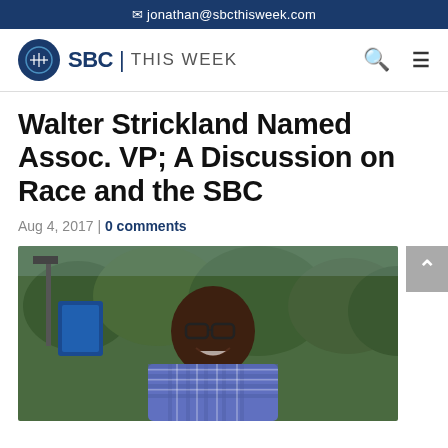jonathan@sbcthisweek.com
[Figure (logo): SBC This Week logo with circular icon and text]
Walter Strickland Named Assoc. VP; A Discussion on Race and the SBC
Aug 4, 2017 | 0 comments
[Figure (photo): A smiling man wearing glasses and a plaid shirt, standing outdoors with trees in the background and a blue banner visible]